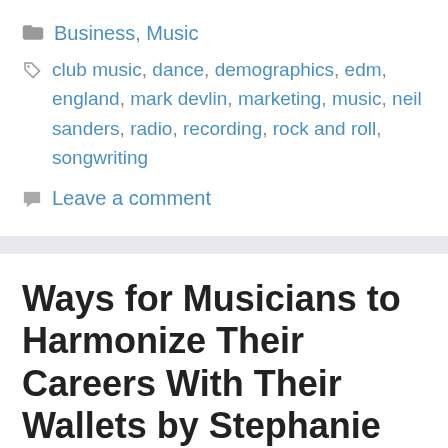Business, Music
club music, dance, demographics, edm, england, mark devlin, marketing, music, neil sanders, radio, recording, rock and roll, songwriting
Leave a comment
Ways for Musicians to Harmonize Their Careers With Their Wallets by Stephanie Haywood
August 5, 2022 by Mic Hael